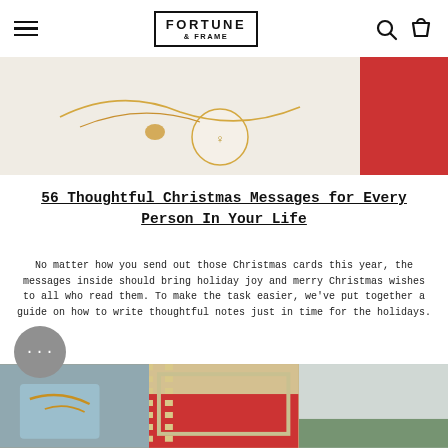Fortune & Frame — navigation header with hamburger menu, logo, search and cart icons
[Figure (photo): Close-up photo of gold jewelry chains and a small round pendant on a white fur background with red ribbon visible on the right]
56 Thoughtful Christmas Messages for Every Person In Your Life
No matter how you send out those Christmas cards this year, the messages inside should bring holiday joy and merry Christmas wishes to all who read them. To make the task easier, we've put together a guide on how to write thoughtful notes just in time for the holidays.
[Figure (photo): Three images at the bottom: wrapped gifts with gold ribbon on light blue background, striped fabric with red and green gift, and snowy surface with green plant]
[Figure (other): Gray circular chat bubble button with three dots]